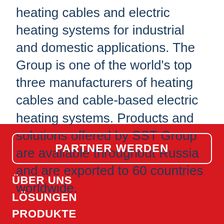heating cables and electric heating systems for industrial and domestic applications. The Group is one of the world's top three manufacturers of heating cables and cable-based electric heating systems. Products and solutions offered by SST Group are available throughout Russia and are exported to 60 countries worldwide.
PARTNER WERDEN
ÜBER UNS
LÖSUNGEN
PRODUKTE